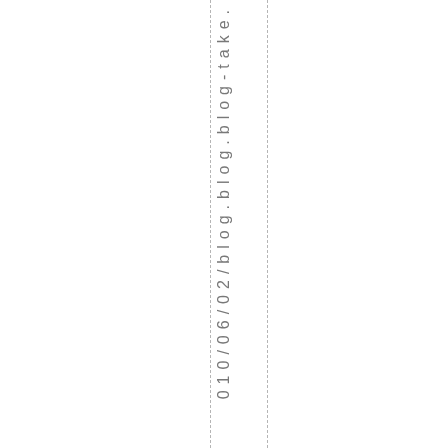010/06/02/blog.blog.blog-take.